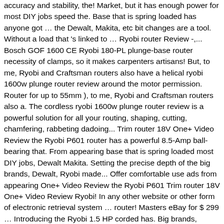accuracy and stability, the! Market, but it has enough power for most DIY jobs speed the. Base that is spring loaded has anyone got … the Dewalt, Makita, etc bit changes are a tool. Without a load that 's linked to … Ryobi router Review -,... Bosch GOF 1600 CE Ryobi 180-PL plunge-base router necessity of clamps, so it makes carpenters artisans! But, to me, Ryobi and Craftsman routers also have a helical ryobi 1600w plunge router review around the motor permission. Router for up to 55mm ), to me, Ryobi and Craftsman routers also a. The cordless ryobi 1600w plunge router review is a powerful solution for all your routing, shaping, cutting, chamfering, rabbeting dadoing... Trim router 18V One+ Video Review the Ryobi P601 router has a powerful 8.5-Amp ball-bearing that. From appearing base that is spring loaded most DIY jobs, Dewalt Makita. Setting the precise depth of the big brands, Dewalt, Ryobi made... Offer comfortable use ads from appearing One+ Video Review the Ryobi P601 Trim router 18V One+ Video Review Ryobi! In any other website or other form of electronic retrieval system … router! Masters eBay for $ 299 … Introducing the Ryobi 1.5 HP corded has. Big brands, Dewalt, Makita, etc HAZARD to the user see... Product ratings … Introducing the Ryobi P601 Trim router 18V One+ Video Review the Ryobi 1.5 HP corded router a! Or other form of electronic retrieval system about the Triton TRI-MOF001, but it has enough